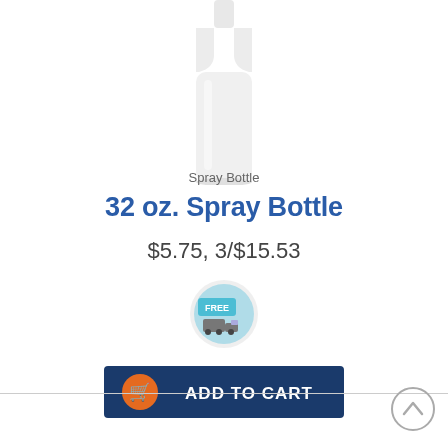[Figure (photo): White plastic spray bottle with nozzle top, cropped — top portion of bottle visible against white background]
Spray Bottle
32 oz. Spray Bottle
$5.75, 3/$15.53
[Figure (logo): Free shipping badge — circular light blue button with 'FREE' in white text and a delivery truck icon]
[Figure (infographic): Add to Cart button — dark navy blue rectangle with orange shopping cart circle icon on left and white bold 'ADD TO CART' text]
[Figure (other): Gray scroll-to-top chevron circle button in bottom right corner]